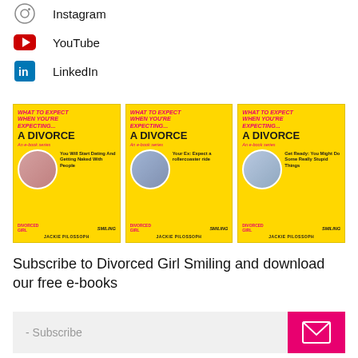Instagram
YouTube
LinkedIn
[Figure (illustration): Three book covers for 'What To Expect When You're Expecting... A Divorce' e-book series by Jackie Pilossoph / Divorced Girl Smiling. Left book: 'You Will Start Dating And Getting Naked With People'. Middle book: 'Your Ex: Expect a rollercoaster ride'. Right book: 'Get Ready: You Might Do Some Really Stupid Things'.]
Subscribe to Divorced Girl Smiling and download our free e-books